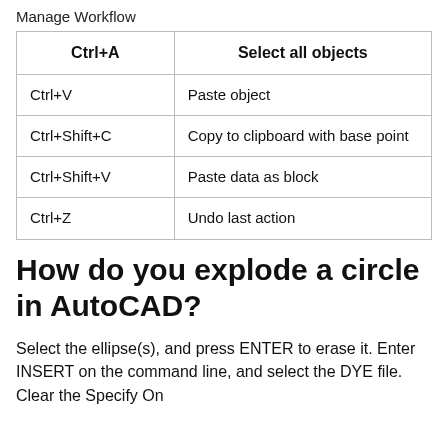Manage Workflow
| Ctrl+A | Select all objects |
| --- | --- |
| Ctrl+V | Paste object |
| Ctrl+Shift+C | Copy to clipboard with base point |
| Ctrl+Shift+V | Paste data as block |
| Ctrl+Z | Undo last action |
How do you explode a circle in AutoCAD?
Select the ellipse(s), and press ENTER to erase it. Enter INSERT on the command line, and select the DYE file. Clear the Specify On